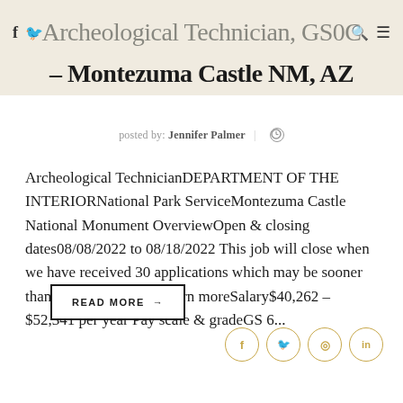Archeological Technician, GS0C – Montezuma Castle NM, AZ
posted by: Jennifer Palmer | (clock icon)
Archeological TechnicianDEPARTMENT OF THE INTERIORNational Park ServiceMontezuma Castle National Monument OverviewOpen & closing dates08/08/2022 to 08/18/2022 This job will close when we have received 30 applications which may be sooner than the closing date. Learn moreSalary$40,262 – $52,341 per year Pay scale & gradeGS 6...
READ MORE →